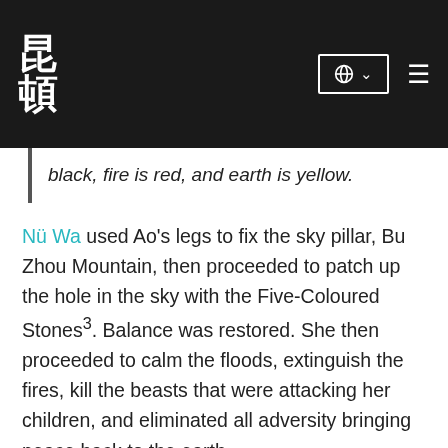昆顿 [logo] [globe icon] [hamburger menu]
black, fire is red, and earth is yellow.
Nü Wa used Ao's legs to fix the sky pillar, Bu Zhou Mountain, then proceeded to patch up the hole in the sky with the Five-Coloured Stones³. Balance was restored. She then proceeded to calm the floods, extinguish the fires, kill the beasts that were attacking her children, and eliminated all adversity bringing peace back to the earth.
³ Some versions of the story state that she created 36,501 Five-Coloured Stones, 36,500 of which were used to repair the sky, with 1 left over that